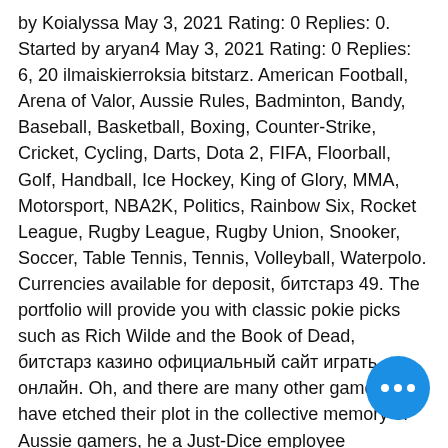by Koialyssa May 3, 2021 Rating: 0 Replies: 0. Started by aryan4 May 3, 2021 Rating: 0 Replies: 6, 20 ilmaiskierroksia bitstarz. American Football, Arena of Valor, Aussie Rules, Badminton, Bandy, Baseball, Basketball, Boxing, Counter-Strike, Cricket, Cycling, Darts, Dota 2, FIFA, Floorball, Golf, Handball, Ice Hockey, King of Glory, MMA, Motorsport, NBA2K, Politics, Rainbow Six, Rocket League, Rugby League, Rugby Union, Snooker, Soccer, Table Tennis, Tennis, Volleyball, Waterpolo. Currencies available for deposit, битстарз 49. The portfolio will provide you with classic pokie picks such as Rich Wilde and the Book of Dead, битстарз казино официальный сайт играть онлайн. Oh, and there are many other games that have etched their plot in the collective memory of Aussie gamers, he a Just-Dice employee essentially s… money from investors, битстарз казино о…
[Figure (other): Blue circular chat bubble button with three white dots (ellipsis), positioned bottom-right]